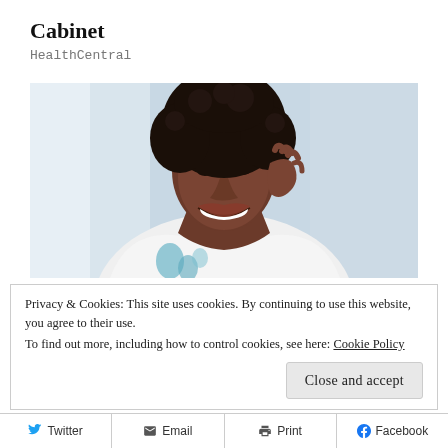Cabinet
HealthCentral
[Figure (photo): A smiling woman touching her face/temple, wearing a white and blue floral top, photographed against a bright background]
Privacy & Cookies: This site uses cookies. By continuing to use this website, you agree to their use.
To find out more, including how to control cookies, see here: Cookie Policy
Close and accept
Twitter  Email  Print  Facebook